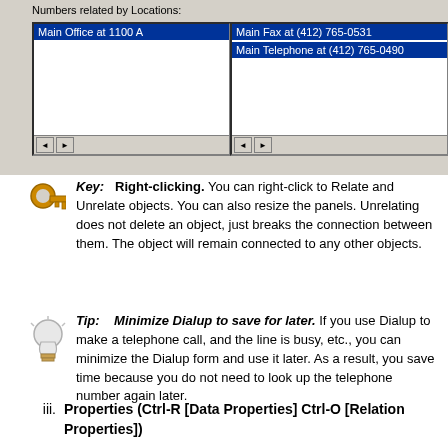[Figure (screenshot): Windows UI screenshot showing 'Numbers related by Locations:' with two list panels. Left panel shows 'Main Office at 1100 A' highlighted in blue. Right panel shows 'Main Fax at (412) 765-0531' and 'Main Telephone at (412) 765-0490' both highlighted in blue. Horizontal scrollbars at bottom of each panel.]
Key:  Right-clicking. You can right-click to Relate and Unrelate objects. You can also resize the panels. Unrelating does not delete an object, just breaks the connection between them. The object will remain connected to any other objects.
Tip:  Minimize Dialup to save for later. If you use Dialup to make a telephone call, and the line is busy, etc., you can minimize the Dialup form and use it later. As a result, you save time because you do not need to look up the telephone number again later.
iii.  Properties (Ctrl-R [Data Properties] Ctrl-O [Relation Properties])
Each object has its own properties, as seen